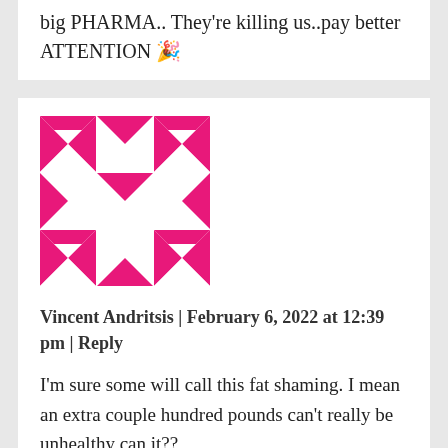big PHARMA.. They're killing us..pay better ATTENTION 🎉
[Figure (illustration): Pink and white geometric avatar/logo with diamond and arrow shapes in a grid pattern]
Vincent Andritsis | February 6, 2022 at 12:39 pm | Reply
I'm sure some will call this fat shaming. I mean an extra couple hundred pounds can't really be unhealthy can it??
[Figure (illustration): Green and white geometric avatar/logo with diagonal arrow shapes in a grid pattern, partially visible]